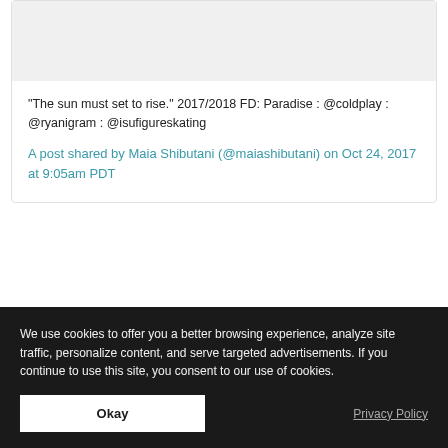[Figure (screenshot): Social media embed card with image placeholder at top]
"The sun must set to rise." 2017/2018 FD: Paradise : @coldplay : @ryanigram : @isufigureskating
A post shared by Maia Shibutani (@maiashibutani) on Oct 24, 2017 at 9:05am PDT
Together with her brother Alex, Maia Shibutani
We use cookies to offer you a better browsing experience, analyze site traffic, personalize content, and serve targeted advertisements. If you continue to use this site, you consent to our use of cookies.
Okay
Privacy Policy